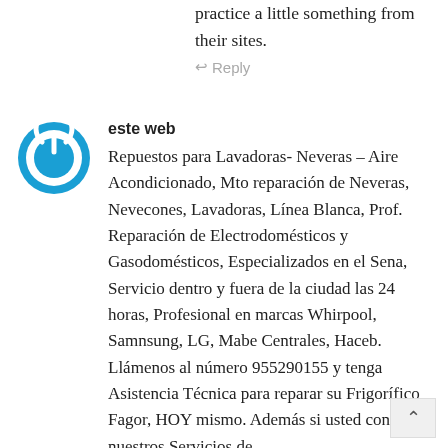practice a little something from their sites.
↩ Reply
este web
Repuestos para Lavadoras- Neveras – Aire Acondicionado, Mto reparación de Neveras, Nevecones, Lavadoras, Línea Blanca, Prof. Reparación de Electrodomésticos y Gasodomésticos, Especializados en el Sena, Servicio dentro y fuera de la ciudad las 24 horas, Profesional en marcas Whirpool, Samnsung, LG, Mabe Centrales, Haceb. Llámenos al número 955290155 y tenga Asistencia Técnica para reparar su Frigorífico Fagor, HOY mismo. Además si usted contrata nuestros Servicios de